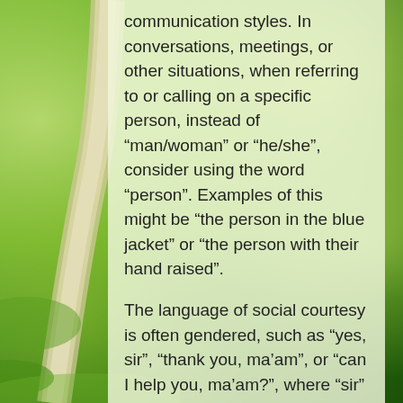[Figure (photo): Background photo of a winding path through green grass with bright green foliage and bokeh light effects]
communication styles. In conversations, meetings, or other situations, when referring to or calling on a specific person, instead of “man/woman” or “he/she”, consider using the word “person”. Examples of this might be “the person in the blue jacket” or “the person with their hand raised”.
The language of social courtesy is often gendered, such as “yes, sir”, “thank you, ma’am”, or “can I help you, ma’am?”, where “sir” and “ma’am” make gender-based assumptions about the person to whom they’re directed. Non-gendered